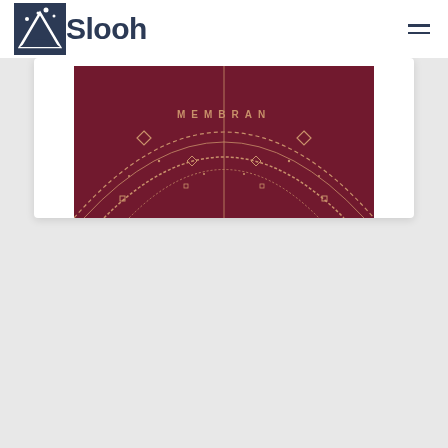Slooh
[Figure (photo): Partial circular astronomical instrument or star chart with text 'MEMBRAN' visible on a deep red/maroon background with gold geometric patterns and diamond shapes]
What is Slooh?
YOUR INTERFACE TO SPACE, THE METAVERSE OF THE UNIVERSE, SPACE FOR EVERYONE
Patented technology to explore space.